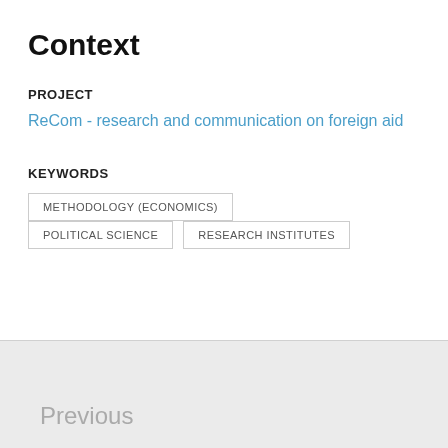Context
PROJECT
ReCom - research and communication on foreign aid
KEYWORDS
METHODOLOGY (ECONOMICS)
POLITICAL SCIENCE
RESEARCH INSTITUTES
Previous